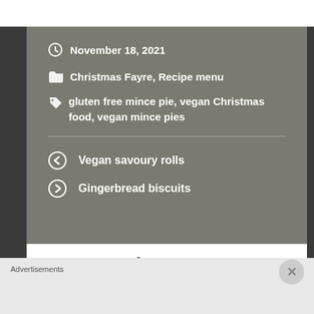November 18, 2021
Christmas Fayre, Recipe menu
gluten free mince pie, vegan Christmas food, vegan mince pies
Vegan savoury rolls
Gingerbread biscuits
Leave a Reply
Advertisements